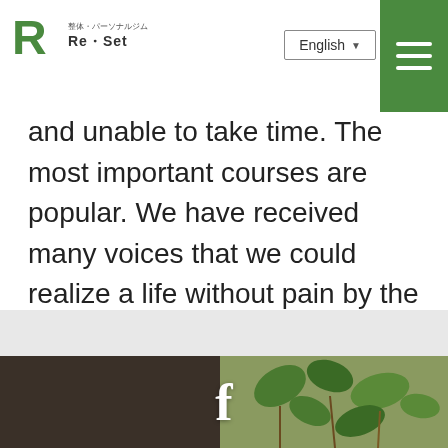[Figure (logo): Re·Set personal gym logo with green R icon and Japanese text]
and unable to take time. The most important courses are popular. We have received many voices that we could realize a life without pain by the treatment of staff with athlete experience, so please use it if you think that you would like to go to Hashimoto for tailoring .
[Figure (photo): Bottom section showing a person's silhouette on left and green leafy plant background on right, with a white Facebook 'f' icon in the center]